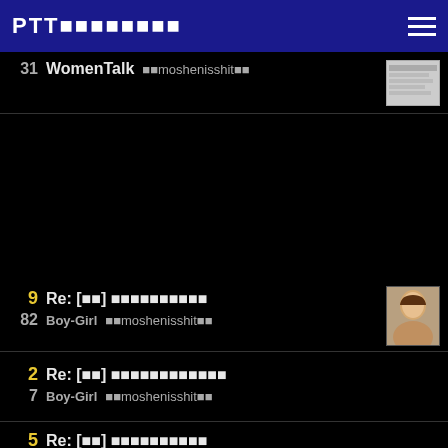PTT 鄉民公告欄
31 WomenTalk ⬛⬛moshenisshit⬛⬛
9 Re: [討論] ⬛⬛⬛⬛⬛⬛⬛⬛⬛⬛ / 82 Boy-Girl ⬛⬛moshenisshit⬛⬛
2 Re: [討論] ⬛⬛⬛⬛⬛⬛⬛⬛⬛⬛⬛⬛ / 7 Boy-Girl ⬛⬛moshenisshit⬛⬛
5 Re: [討論] ⬛⬛⬛⬛⬛⬛⬛⬛⬛⬛ / 9 Boy-Girl ⬛⬛moshenisshit⬛⬛
12 Re: [討論] ⬛⬛⬛⬛⬛⬛⬛⬛⬛⬛⬛⬛⬛⬛⬛⬛ / 32 Boy-Girl ⬛⬛moshenisshit⬛⬛
0 [討論] ⬛⬛⬛⬛⬛⬛⬛⬛⬛⬛⬛⬛⬛⬛